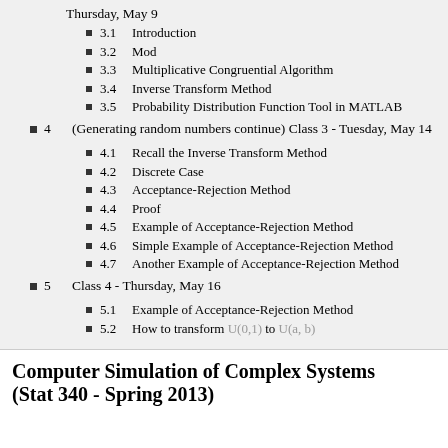Thursday, May 9
3.1  Introduction
3.2  Mod
3.3  Multiplicative Congruential Algorithm
3.4  Inverse Transform Method
3.5  Probability Distribution Function Tool in MATLAB
4  (Generating random numbers continue) Class 3 - Tuesday, May 14
4.1  Recall the Inverse Transform Method
4.2  Discrete Case
4.3  Acceptance-Rejection Method
4.4  Proof
4.5  Example of Acceptance-Rejection Method
4.6  Simple Example of Acceptance-Rejection Method
4.7  Another Example of Acceptance-Rejection Method
5  Class 4 - Thursday, May 16
5.1  Example of Acceptance-Rejection Method
5.2  How to transform U(0,1) to U(a, b)
Computer Simulation of Complex Systems
(Stat 340 - Spring 2013)